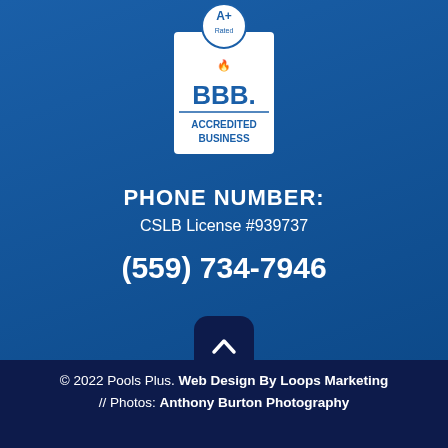[Figure (logo): BBB Accredited Business logo with A+ Rated badge, blue and white colors]
PHONE NUMBER:
CSLB License #939737
(559) 734-7946
© 2022 Pools Plus. Web Design By Loops Marketing // Photos: Anthony Burton Photography